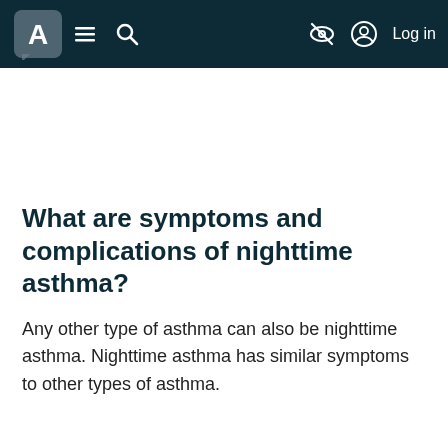Healthline navigation bar with logo, menu, search, accessibility, and log in
What are symptoms and complications of nighttime asthma?
Any other type of asthma can also be nighttime asthma. Nighttime asthma has similar symptoms to other types of asthma.